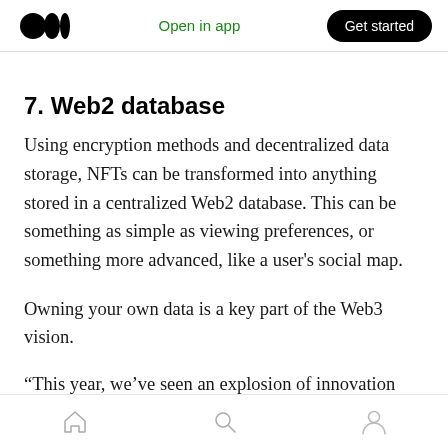Open in app  Get started
7. Web2 database
Using encryption methods and decentralized data storage, NFTs can be transformed into anything stored in a centralized Web2 database. This can be something as simple as viewing preferences, or something more advanced, like a user’s social map.
Owning your own data is a key part of the Web3 vision.
“This year, we’ve seen an explosion of innovation
Home  Search  Profile